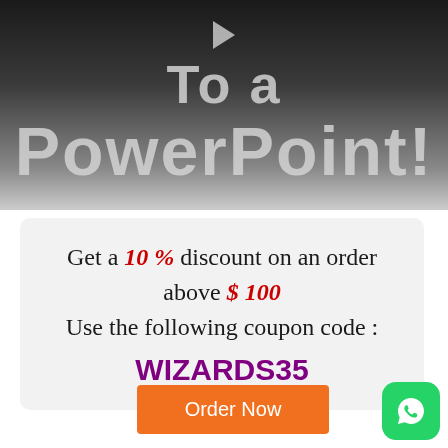[Figure (screenshot): Dark gradient video thumbnail banner with play button icon and text 'To a PowerPoint!']
Get a 10 % discount on an order above $ 100
Use the following coupon code :
WIZARDS35
Order Now